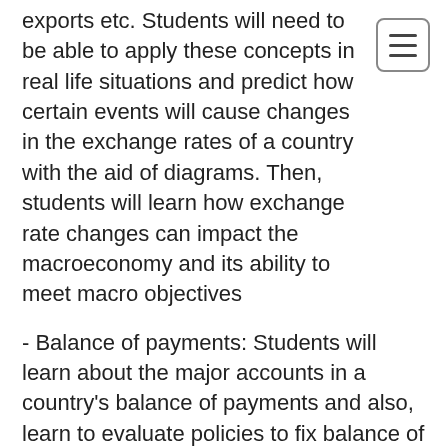exports etc. Students will need to be able to apply these concepts in real life situations and predict how certain events will cause changes in the exchange rates of a country with the aid of diagrams. Then, students will learn how exchange rate changes can impact the macroeconomy and its ability to meet macro objectives
- Balance of payments: Students will learn about the major accounts in a country's balance of payments and also, learn to evaluate policies to fix balance of payment problems
- Trading blocs: various forms of trading blocs, such as custom union, monetary union will be explored.